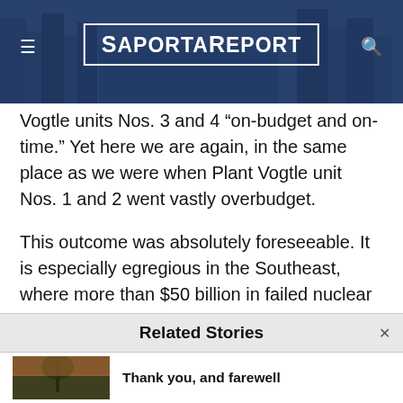SaportaReport
Vogtle units Nos. 3 and 4 “on-budget and on-time.” Yet here we are again, in the same place as we were when Plant Vogtle unit Nos. 1 and 2 went vastly overbudget.
This outcome was absolutely foreseeable. It is especially egregious in the Southeast, where more than $50 billion in failed nuclear power plants dot the landscape and damage the wallets of
Related Stories
Thank you, and farewell